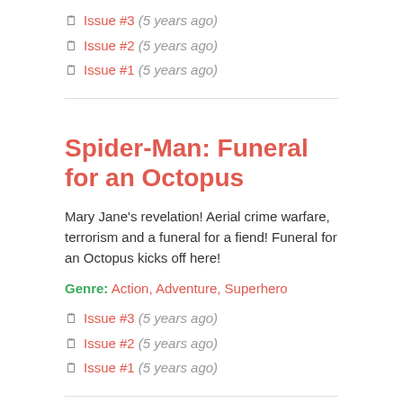Issue #3 (5 years ago)
Issue #2 (5 years ago)
Issue #1 (5 years ago)
Spider-Man: Funeral for an Octopus
Mary Jane's revelation! Aerial crime warfare, terrorism and a funeral for a fiend! Funeral for an Octopus kicks off here!
Genre: Action, Adventure, Superhero
Issue #3 (5 years ago)
Issue #2 (5 years ago)
Issue #1 (5 years ago)
Sleepwalker Holiday Special